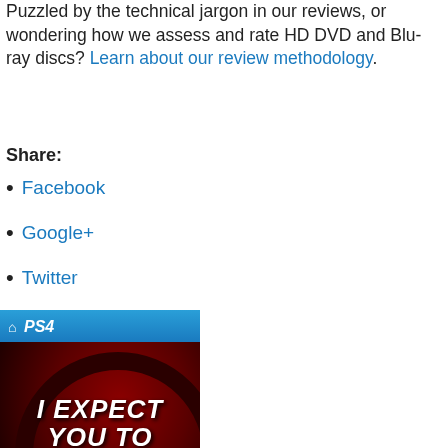Puzzled by the technical jargon in our reviews, or wondering how we assess and rate HD DVD and Blu-ray discs? Learn about our review methodology.
Share:
Facebook
Google+
Twitter
[Figure (photo): PS4 game cover for 'I Expect You To Die' showing dark red background with circular motif and game title text]